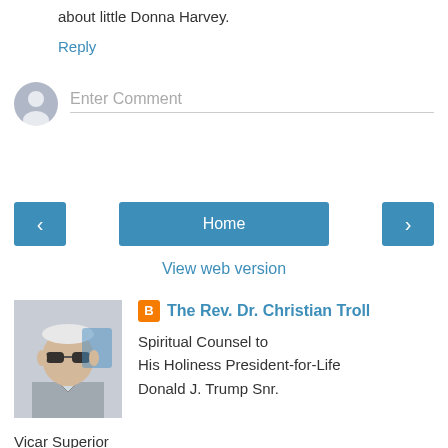about little Donna Harvey.
Reply
Enter Comment
Home
View web version
The Rev. Dr. Christian Troll
Spiritual Counsel to
His Holiness President-for-Life
Donald J. Trump Snr.
Vicar Superior
St. Onuphrius' Ichabod Springs